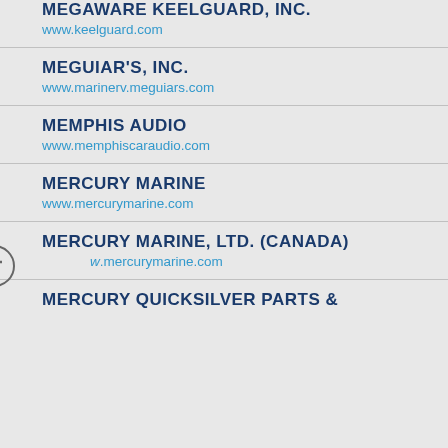MEGAWARE KEELGUARD, INC.
www.keelguard.com
MEGUIAR'S, INC.
www.marinerv.meguiars.com
MEMPHIS AUDIO
www.memphiscaraudio.com
MERCURY MARINE
www.mercurymarine.com
MERCURY MARINE, LTD. (CANADA)
w.mercurymarine.com
MERCURY QUICKSILVER PARTS &